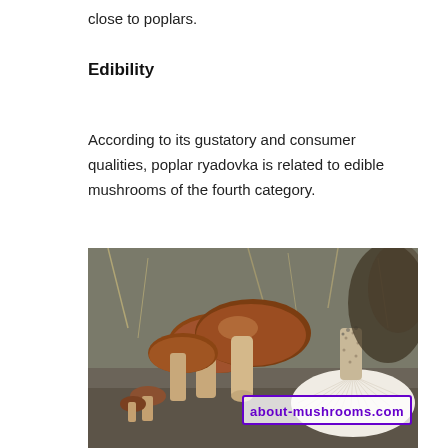close to poplars.
Edibility
According to its gustatory and consumer qualities, poplar ryadovka is related to edible mushrooms of the fourth category.
[Figure (photo): Photograph of poplar ryadovka mushrooms (Tricholoma populinum) on the ground, showing several brown-capped mushrooms clustered together and one flipped over showing white gills, with a watermark reading 'about-mushrooms.com']